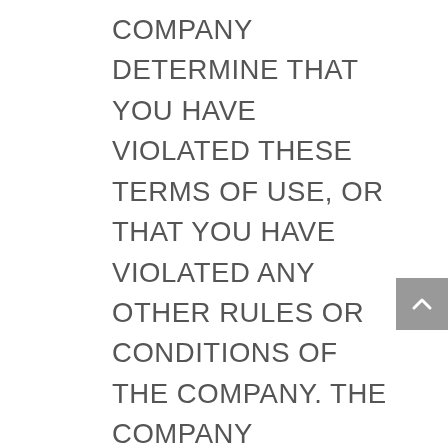COMPANY DETERMINE THAT YOU HAVE VIOLATED THESE TERMS OF USE, OR THAT YOU HAVE VIOLATED ANY OTHER RULES OR CONDITIONS OF THE COMPANY. THE COMPANY RESERVES THE RIGHT TO REFUSE ACCESS TO THE SITE AND/OR THE COMPANY'S CONTENT, PRODUCTS AND/OR SERVICES TO ANYONE IN ITS SOLE DISCRETION. THE COMPANY RESERVES THE RIGHT TO DETERMINE, IN ITS SOLE DISCRETION, WHETHER THE COMPANY IS RESPONSIBLE FOR ANY SUCH MALFUNCTION OR DISRUPTION. THE COMPANY MAY, IN ITS SOLE DISCRETION, REFUND THE INITIAL FEE CHARGED FOR ANY USE OF THE SITE AND/OR ANY CONTENT OR A PRO-RATA